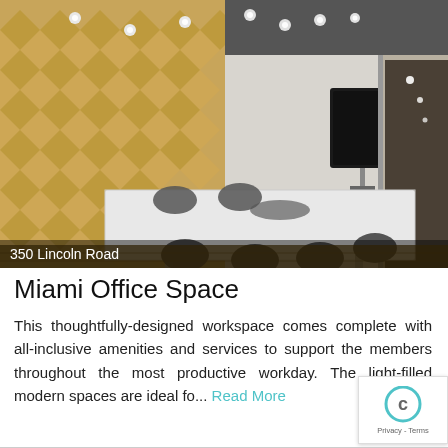[Figure (photo): Interior photo of a modern conference room with a long white table, grey office chairs, a textured golden diamond-pattern wall panel, a large mounted TV screen, track lighting overhead, and a glass wall opening to a hallway. Caption reads '350 Lincoln Road'.]
350 Lincoln Road
Miami Office Space
This thoughtfully-designed workspace comes complete with all-inclusive amenities and services to support the members throughout the most productive workday. The light-filled modern spaces are ideal fo... Read More